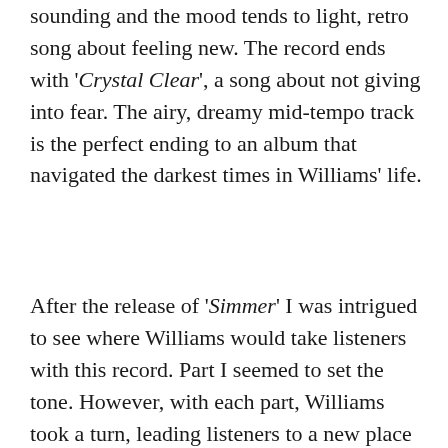sounding and the mood tends to light, retro song about feeling new. The record ends with 'Crystal Clear', a song about not giving into fear. The airy, dreamy mid-tempo track is the perfect ending to an album that navigated the darkest times in Williams' life.
After the release of 'Simmer' I was intrigued to see where Williams would take listeners with this record. Part I seemed to set the tone. However, with each part, Williams took a turn, leading listeners to a new place sonically and thematically. The overall production delivered by York is superb, with each instrumentalists